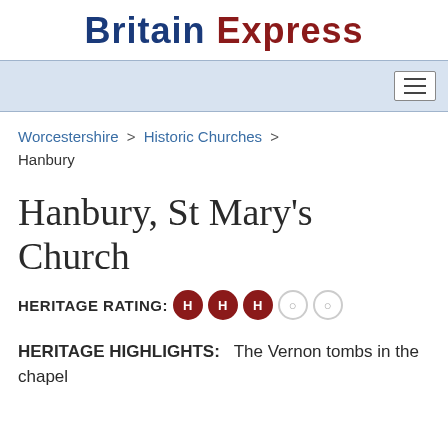Britain Express
[Figure (screenshot): Navigation bar with hamburger menu icon on blue-grey background]
Worcestershire > Historic Churches > Hanbury
Hanbury, St Mary's Church
HERITAGE RATING: HHH (3 out of 5)
HERITAGE HIGHLIGHTS:   The Vernon tombs in the chapel